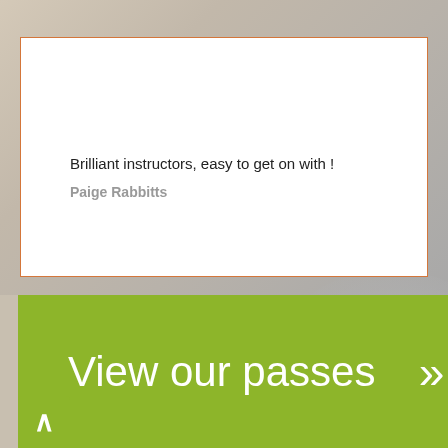Brilliant instructors, easy to get on with !
Paige Rabbitts
View our passes »